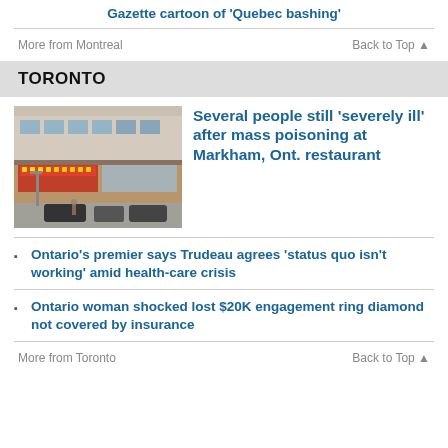Gazette cartoon of 'Quebec bashing'
More from Montreal
Back to Top ▲
TORONTO
[Figure (photo): Aerial view of a commercial building/restaurant exterior in Markham, Ontario]
Several people still 'severely ill' after mass poisoning at Markham, Ont. restaurant
Ontario's premier says Trudeau agrees 'status quo isn't working' amid health-care crisis
Ontario woman shocked lost $20K engagement ring diamond not covered by insurance
More from Toronto
Back to Top ▲